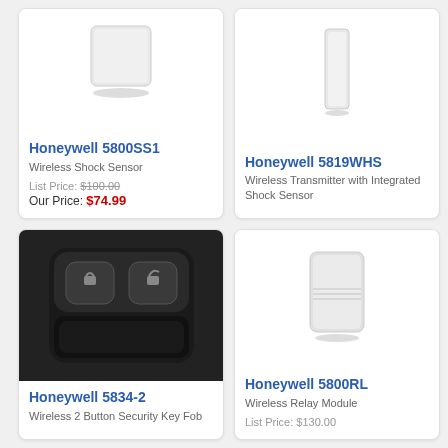[Figure (photo): Honeywell 5800SS1 wireless shock sensor - small white square device]
Honeywell 5800SS1
Wireless Shock Sensor
List Price: $100.00
Our Price: $74.99
[Figure (photo): Honeywell 5819WHS wireless transmitter - tall narrow white device]
Honeywell 5819WHS
Wireless Transmitter with Integrated Shock Sensor
[Figure (photo): Honeywell 5834-2 wireless 2 button security key fob - black with lock/unlock buttons]
Honeywell 5834-2
Wireless 2 Button Security Key Fob
[Figure (photo): Honeywell 5800RL wireless relay module - small white rectangular device]
Honeywell 5800RL
Wireless Relay Module
List Price: $130.00